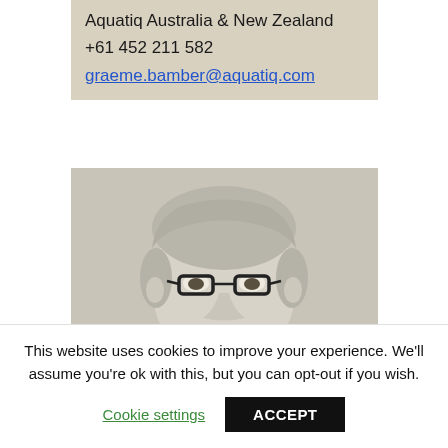Aquatiq Australia & New Zealand
+61 452 211 582
graeme.bamber@aquatiq.com
[Figure (photo): Black and white portrait photo of a middle-aged man with grey hair, wearing glasses and a light-colored shirt, smiling.]
This website uses cookies to improve your experience. We'll assume you're ok with this, but you can opt-out if you wish.
Cookie settings   ACCEPT